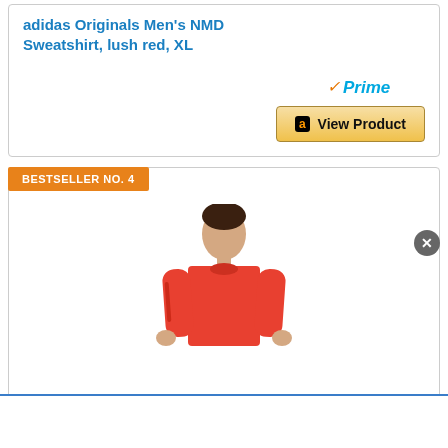adidas Originals Men's NMD Sweatshirt, lush red, XL
[Figure (other): Amazon Prime badge with orange checkmark and blue italic Prime text]
[Figure (other): Amazon View Product button with Amazon logo]
BESTSELLER NO. 4
[Figure (photo): Man wearing a red/orange long-sleeve sweatshirt, standing against white background]